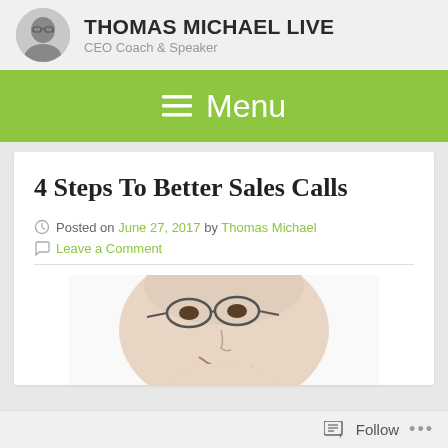THOMAS MICHAEL LIVE — CEO Coach & Speaker
Menu
4 Steps To Better Sales Calls
Posted on June 27, 2017 by Thomas Michael
Leave a Comment
[Figure (photo): Close-up photo of a smiling middle-aged man with glasses, chin resting on hand]
Follow ...